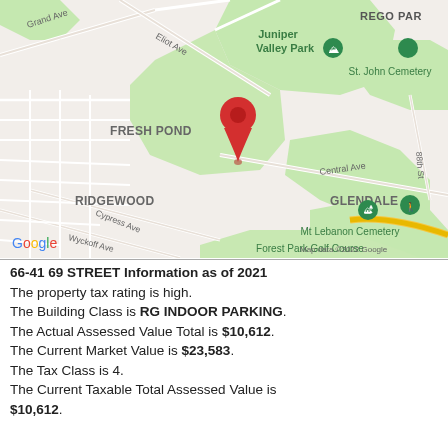[Figure (map): Google Maps screenshot showing the area around 66-41 69 Street in Queens, NY. Visible neighborhoods include Fresh Pond, Ridgewood, Glendale, Rego Park. Landmarks include Juniper Valley Park, St. John Cemetery, Mt Lebanon Cemetery, Forest Park Golf Course. A red location pin is placed in the Fresh Pond/Juniper Valley Park area. Streets labeled include Grand Ave, Eliot Ave, Central Ave, Cypress Ave, Wyckoff Ave, 88th St. Google logo and 'Map data ©2022 Google' attribution visible.]
66-41 69 STREET Information as of 2021
The property tax rating is high.
The Building Class is RG INDOOR PARKING.
The Actual Assessed Value Total is $10,612.
The Current Market Value is $23,583.
The Tax Class is 4.
The Current Taxable Total Assessed Value is $10,612.